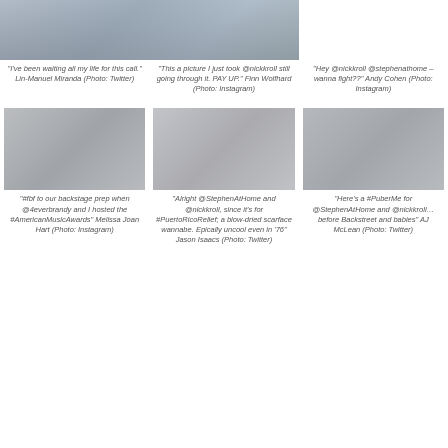[Figure (photo): Photo of two people - appears to be a cropped image showing two individuals]
"I've been waiting all my life for this call." Lin-Manuel Miranda (Photo: Twitter)
"This a picture I just took @nickkroll still going through it. PAY UP." Finn Wolfhard (Photo: Instagram)
"Hey @nickkroll @stephenathome – wanna fight??" Andy Cohen (Photo: Instagram)
[Figure (photo): Backstage photo placeholder]
[Figure (photo): Photo placeholder]
[Figure (photo): Photo placeholder]
"#fbf to our backstage prep when @4everbrandy and I hosted the #AmericanMusicAwards" Melissa Joan Hart (Photo: Instagram)
"Alright @StephenAtHome and @nickkroll, since it's for #PuertoRicoRelief; a blow-dried scarface wannabe. Epically uncool even in '76" Jason Isaacs (Photo: Twitter)
"Here's a #PuberMe for @StephenAtHome and @nickkroll… before Backstreet and babies" AJ McLean (Photo: Twitter)